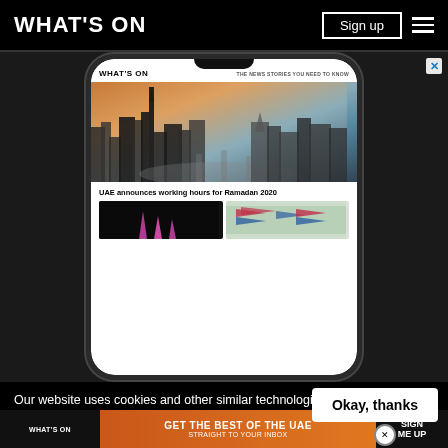WHAT'S ON
[Figure (screenshot): A smartphone displaying the What's On website with a Dubai skyline aerial photo, headline 'UAE announces working hours for Ramadan 2020', and two thumbnail images below]
Our website uses cookies and other similar technologies to improve our site and your online experience. By continuing to use our website you conse... our pr...
[Figure (infographic): Bottom banner advertisement: WHAT'S ON logo, GET THE BEST OF THE UAE STRAIGHT TO YOUR INBOX, SIGN ME UP button]